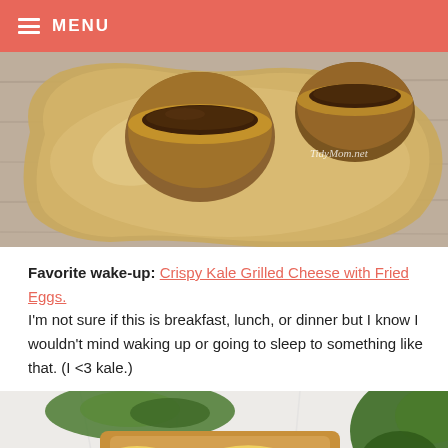MENU
[Figure (photo): Food photo showing chocolate-filled tart cups on a decorative ceramic plate with a watermark reading TidyMom.net]
Favorite wake-up: Crispy Kale Grilled Cheese with Fried Eggs. I'm not sure if this is breakfast, lunch, or dinner but I know I wouldn't mind waking up or going to sleep to something like that. (I <3 kale.)
[Figure (photo): Food photo showing a grilled cheese sandwich with crispy kale and fried eggs on white paper]